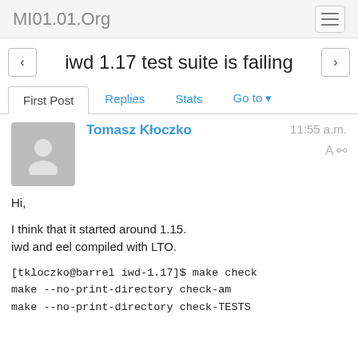MI01.01.Org
iwd 1.17 test suite is failing
First Post  Replies  Stats  Go to
Tomasz Kłoczko
11:55 a.m.
Hi,

I think that it started around 1.15.
iwd and eel compiled with LTO.

[tkloczko@barrel iwd-1.17]$ make check
make --no-print-directory check-am
make --no-print-directory check-TESTS